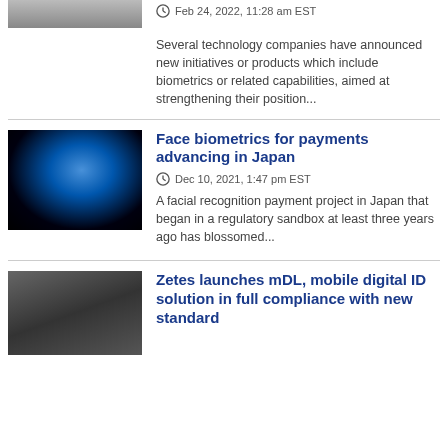[Figure (photo): Partial image at top of page, cropped, showing indistinct subject]
Feb 24, 2022, 11:28 am EST
Several technology companies have announced new initiatives or products which include biometrics or related capabilities, aimed at strengthening their position...
[Figure (photo): Digital face made of blue particles on black background - face biometrics concept]
Face biometrics for payments advancing in Japan
Dec 10, 2021, 1:47 pm EST
A facial recognition payment project in Japan that began in a regulatory sandbox at least three years ago has blossomed...
[Figure (photo): Person in suit holding a smartphone]
Zetes launches mDL, mobile digital ID solution in full compliance with new standard